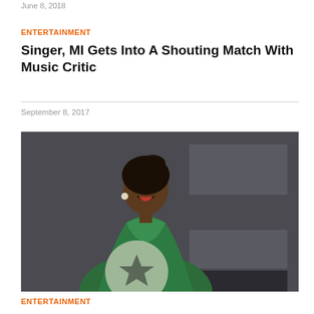June 8, 2018
ENTERTAINMENT
Singer, MI Gets Into A Shouting Match With Music Critic
September 8, 2017
[Figure (photo): A woman in a green sequined dress smiling, posed in front of a dark grey background with geometric shapes.]
ENTERTAINMENT